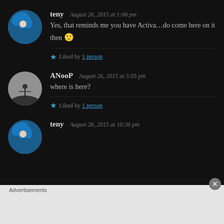teny — August 26, 2015 at 1:06 pm
Yes, that reminds me you have Activa…do come here on it then 🙂
★ Liked by 1 person
ANooP — August 26, 2015 at 3:05 pm
where is here?
★ Liked by 1 person
teny — August 26, 2015 at 10:36 pm
Advertisements
[Figure (screenshot): WooCommerce advertisement banner: 'How to start selling subscriptions online']